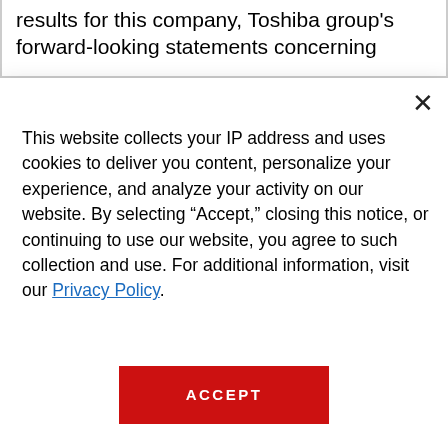results for this company, Toshiba group's forward-looking statements concerning
This website collects your IP address and uses cookies to deliver you content, personalize your experience, and analyze your activity on our website. By selecting “Accept,” closing this notice, or continuing to use our website, you agree to such collection and use. For additional information, visit our Privacy Policy.
ACCEPT